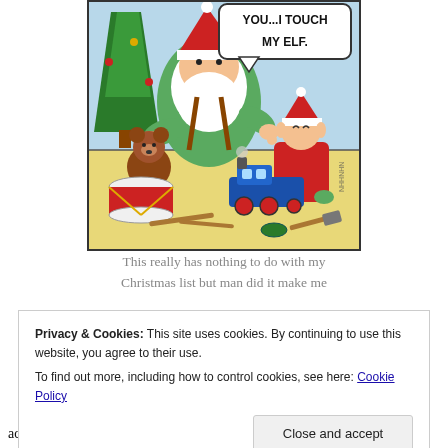[Figure (illustration): A Christmas comic cartoon showing Santa Claus at a workshop table with an elf. Santa has a speech bubble saying 'YOU...I TOUCH MY ELF.' A teddy bear, toy train, drum, and tools are on the table. A Christmas tree is in the background.]
This really has nothing to do with my Christmas list but man did it make me
Privacy & Cookies: This site uses cookies. By continuing to use this website, you agree to their use.
To find out more, including how to control cookies, see here: Cookie Policy
adult and should be wishing for stuff like world peace and